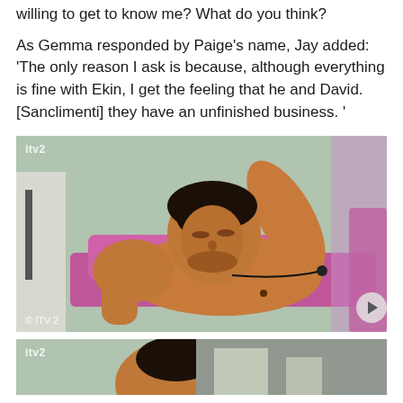willing to get to know me? What do you think?
As Gemma responded by Paige’s name, Jay added: ‘The only reason I ask is because, although everything is fine with Ekin, I get the feeling that he and David. [Sanclimenti] they have an unfinished business. ’
[Figure (photo): A shirtless young man with dark hair reclines on a pink sun lounger outdoors. He has his arm raised behind his head and is wearing a microphone. The ITV2 watermark is visible in the top left corner, and © ITV 2 copyright notice is at the bottom left.]
[Figure (photo): Partial view of a second photo, also showing a person outdoors with the ITV2 watermark visible in the top left.]